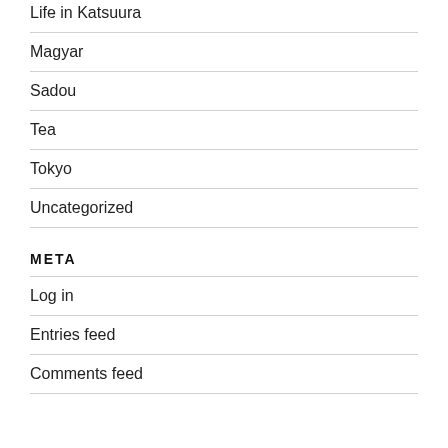Life in Katsuura
Magyar
Sadou
Tea
Tokyo
Uncategorized
META
Log in
Entries feed
Comments feed